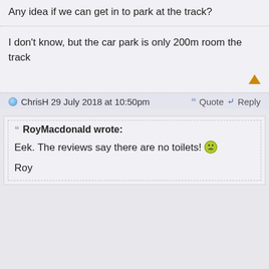Any idea if we can get in to park at the track?
I don't know, but the car park is only 200m room the track
ChrisH 29 July 2018 at 10:50pm
Quote   Reply
RoyMacdonald wrote:
Eek. The reviews say there are no toilets!
Roy